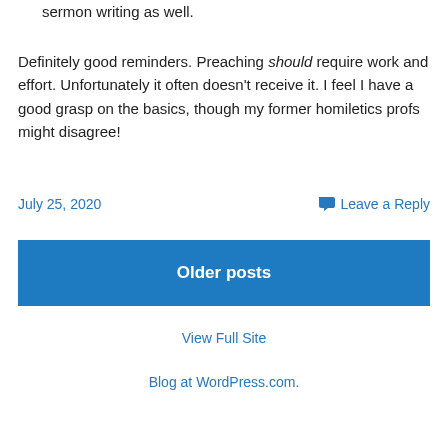sermon writing as well.
Definitely good reminders. Preaching should require work and effort. Unfortunately it often doesn't receive it. I feel I have a good grasp on the basics, though my former homiletics profs might disagree!
July 25, 2020
Leave a Reply
Older posts
View Full Site
Blog at WordPress.com.